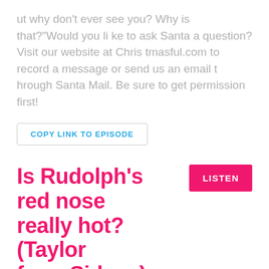ut why don't ever see you? Why is that?"Would you like to ask Santa a question? Visit our website at Christmasful.com to record a message or send us an email through Santa Mail. Be sure to get permission first!
COPY LINK TO EPISODE
Is Rudolph's red nose really hot? (Taylor from Sidney)
LISTEN
Dec 02 2020
Here's today's question emailed from Taylor..."Rudolph's nose is always red.. Does that mean it's really hot?"Would you like to ask Santa a question? Visit our w